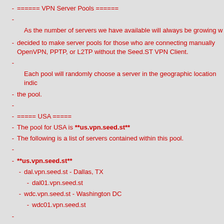====== VPN Server Pools ======
As the number of servers we have available will always be growing w decided to make server pools for those who are connecting manually OpenVPN, PPTP, or L2TP without the Seed.ST VPN Client.
Each pool will randomly choose a server in the geographic location indic the pool.
===== USA =====
The pool for USA is **us.vpn.seed.st**
The following is a list of servers contained within this pool.
**us.vpn.seed.st**
dal.vpn.seed.st - Dallas, TX
dal01.vpn.seed.st
wdc.vpn.seed.st - Washington DC
wdc01.vpn.seed.st
===== Europe =====
The pool for Europe is **eu.vpn.seed.st**
The following is a list of servers contained within this pool.